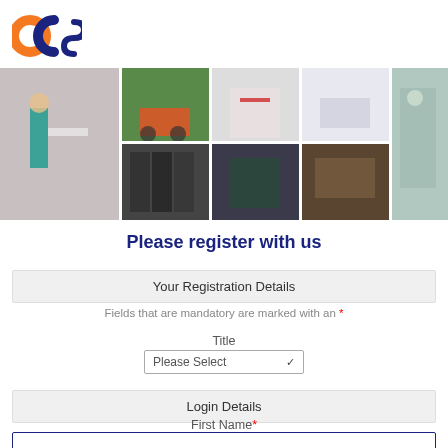[Figure (logo): OCS company logo with orange and blue letters]
[Figure (photo): Collage of 8 workplace photos showing cleaning staff, gardening, office work, airport, maintenance, kitchen and other facility management workers]
Please register with us
Your Registration Details
Fields that are mandatory are marked with an *
Title
Please Select
Login Details
First Name*